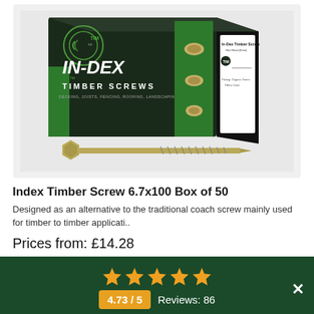[Figure (photo): Product photo of IN-DEX Timber Screws box by TIMco with a large hex-head screw displayed below the box]
Index Timber Screw 6.7x100 Box of 50
Designed as an alternative to the traditional coach screw mainly used for timber to timber applicati..
Prices from: £14.28
4.73 / 5   Reviews: 86